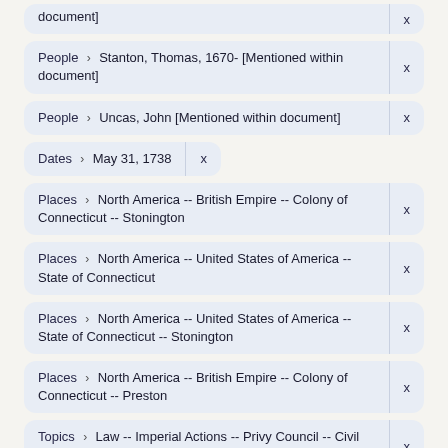People > Stanton, Thomas, 1670- [Mentioned within document]
People > Uncas, John [Mentioned within document]
Dates > May 31, 1738
Places > North America -- British Empire -- Colony of Connecticut -- Stonington
Places > North America -- United States of America -- State of Connecticut
Places > North America -- United States of America -- State of Connecticut -- Stonington
Places > North America -- British Empire -- Colony of Connecticut -- Preston
Topics > Law -- Imperial Actions -- Privy Council -- Civil Appeals